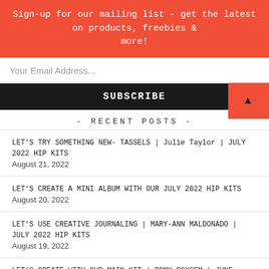Sign-up for our mailing list - get the latest on products, freebies & more!
Your Email Address...
SUBSCRIBE
- RECENT POSTS -
LET'S TRY SOMETHING NEW- TASSELS | Julie Taylor | JULY 2022 HIP KITS August 21, 2022
LET'S CREATE A MINI ALBUM WITH OUR JULY 2022 HIP KITS August 20, 2022
LET'S USE CREATIVE JOURNALING | MARY-ANN MALDONADO | JULY 2022 HIP KITS August 19, 2022
LET'S CREATE WITH OUR MAIN KIT | ROMY BOXSEM | JUNE